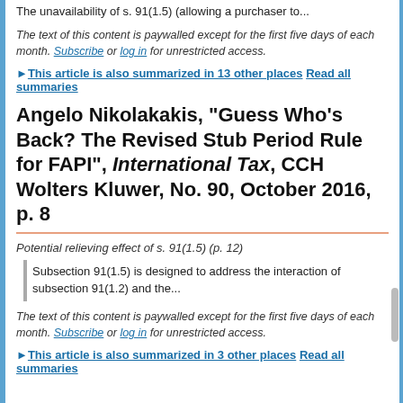The unavailability of s. 91(1.5) (allowing a purchaser to...
The text of this content is paywalled except for the first five days of each month. Subscribe or log in for unrestricted access.
▶ This article is also summarized in 13 other places Read all summaries
Angelo Nikolakakis, "Guess Who's Back? The Revised Stub Period Rule for FAPI", International Tax, CCH Wolters Kluwer, No. 90, October 2016, p. 8
Potential relieving effect of s. 91(1.5) (p. 12)
Subsection 91(1.5) is designed to address the interaction of subsection 91(1.2) and the...
The text of this content is paywalled except for the first five days of each month. Subscribe or log in for unrestricted access.
▶ This article is also summarized in 3 other places Read all summaries